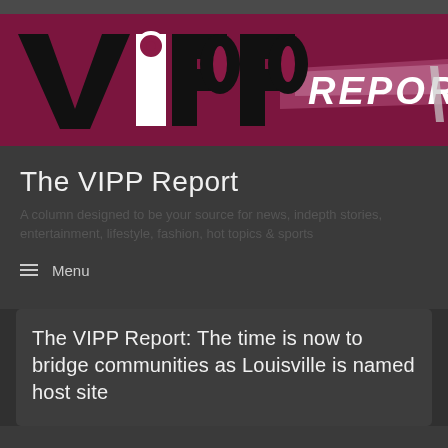[Figure (logo): VIPP Report logo — bold black letters V, I, P, P with white circle accent on the I, text REPORT in white on crimson/magenta background with diagonal light stripe]
The VIPP Report
A column designed to be your source for news, indepth stories, entertainment, lifestyle, fashion, hot topics & sports
≡  Menu
The VIPP Report: The time is now to bridge communities as Louisville is named host site